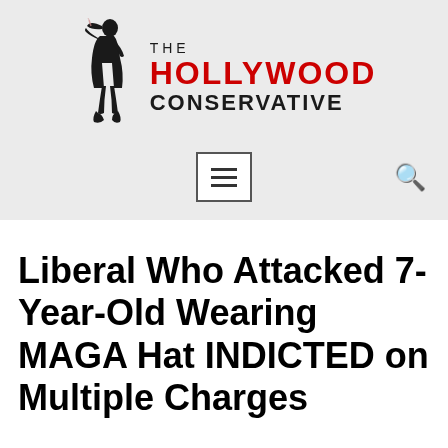[Figure (logo): The Hollywood Conservative logo with silhouette of woman and red/black text]
Liberal Who Attacked 7-Year-Old Wearing MAGA Hat INDICTED on Multiple Charges